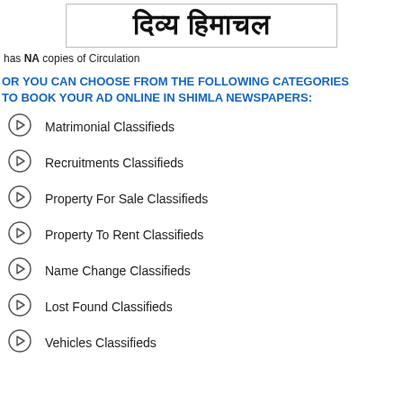दिव्य हिमाचल
has NA copies of Circulation
OR YOU CAN CHOOSE FROM THE FOLLOWING CATEGORIES TO BOOK YOUR AD ONLINE IN SHIMLA NEWSPAPERS:
Matrimonial Classifieds
Recruitments Classifieds
Property For Sale Classifieds
Property To Rent Classifieds
Name Change Classifieds
Lost Found Classifieds
Vehicles Classifieds